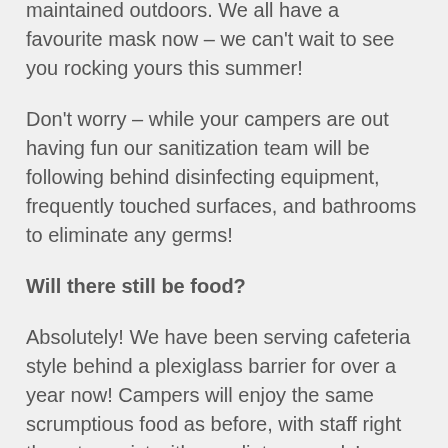or if physical distance cannot be maintained outdoors. We all have a favourite mask now – we can't wait to see you rocking yours this summer!
Don't worry – while your campers are out having fun our sanitization team will be following behind disinfecting equipment, frequently touched surfaces, and bathrooms to eliminate any germs!
Will there still be food?
Absolutely! We have been serving cafeteria style behind a plexiglass barrier for over a year now! Campers will enjoy the same scrumptious food as before, with staff right there to assist with any dietary needs!